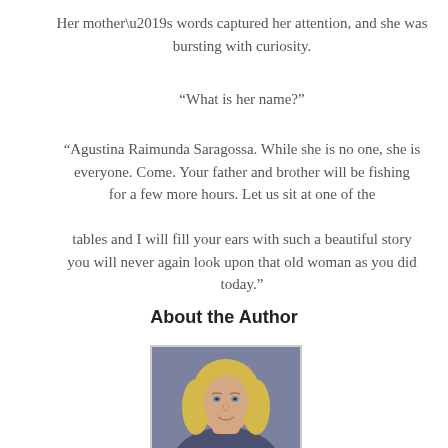Her mother’s words captured her attention, and she was bursting with curiosity.
“What is her name?”
“Agustina Raimunda Saragossa. While she is no one, she is everyone. Come. Your father and brother will be fishing for a few more hours. Let us sit at one of the tables and I will fill your ears with such a beautiful story you will never again look upon that old woman as you did today.”
About the Author
[Figure (photo): Author headshot photo of a blonde woman against a blue background]